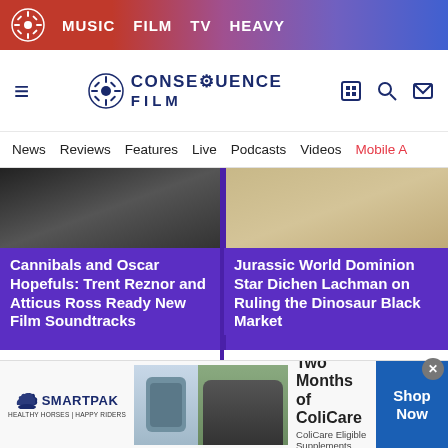MUSIC  FILM  TV  HEAVY
[Figure (screenshot): Consequence Film website logo with gear/daisy icon and navigation header]
News  Reviews  Features  Live  Podcasts  Videos  Mobile A
[Figure (photo): Two article card images: person in black leather jacket (left), woman in white dress (right), on purple background]
Cannibals and Oscar Hopefuls: Trent Reznor and Atticus Ross Ready New Film Soundtracks
September 2, 2022
Jurassic World Dominion Star Dichen Lachman on Ruling the Dinosaur Black Market
September 2, 2022
[Figure (screenshot): SmartPak advertisement: 50% Off Two Months of ColiCare, ColiCare Eligible Supplements, CODE: COLICARE10, Shop Now button]